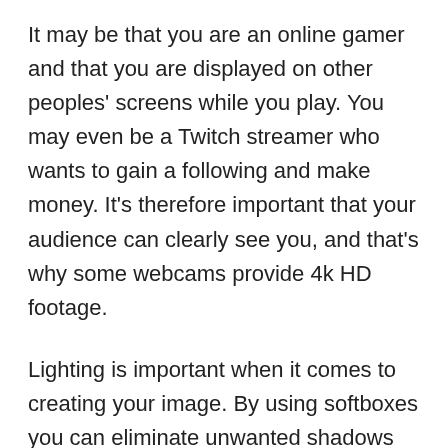It may be that you are an online gamer and that you are displayed on other peoples' screens while you play. You may even be a Twitch streamer who wants to gain a following and make money. It's therefore important that your audience can clearly see you, and that's why some webcams provide 4k HD footage.
Lighting is important when it comes to creating your image. By using softboxes you can eliminate unwanted shadows and create consistent brightness. If you're playing a 'dark game' you may wish to appear sinister and menacing, in which case dim lighting may help create the right